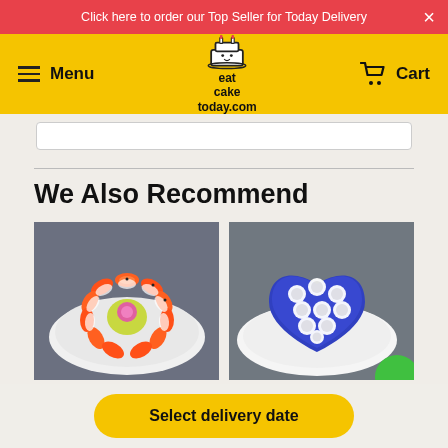Click here to order our Top Seller for Today Delivery
[Figure (screenshot): eatcaketoday.com logo with cake icon]
We Also Recommend
[Figure (photo): Decorative cake with colorful fish-shaped pieces arranged in a circle on a white plate with a pink flower center, on gray background]
[Figure (photo): Heart-shaped blue cake with white rose decorations on a white plate, with a green circular element visible at bottom right, on gray background]
Select delivery date